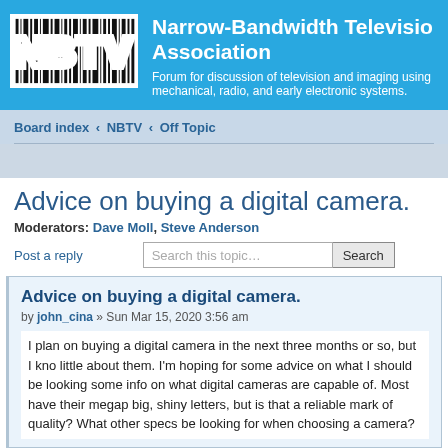[Figure (logo): NBTV logo with barcode-style vertical black and white stripes forming letters NBTV]
Narrow-Bandwidth Television Association
Forum for discussion of television and imaging using mechanical, radio, and early electronic systems.
Board index ‹ NBTV ‹ Off Topic
Advice on buying a digital camera.
Moderators: Dave Moll, Steve Anderson
Post a reply
Advice on buying a digital camera.
by john_cina » Sun Mar 15, 2020 3:56 am
I plan on buying a digital camera in the next three months or so, but I know little about them. I'm hoping for some advice on what I should be looking for, some info on what digital cameras are capable of. Most have their megapixels in big, shiny letters, but is that a reliable mark of quality? What other specs should be looking for when choosing a camera?